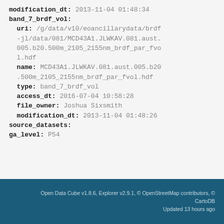modification_dt: 2013-11-04 01:48:34
band_7_brdf_vol:
  uri: /g/data/v10/eoancillarydata/brdf-jl/data/081/MCD43A1.JLWKAV.081.aust.005.b20.500m_2105_2155nm_brdf_par_fvol.hdf
  name: MCD43A1.JLWKAV.081.aust.005.b20.500m_2105_2155nm_brdf_par_fvol.hdf
  type: band_7_brdf_vol
  access_dt: 2016-07-04 10:58:28
  file_owner: Joshua Sixsmith
  modification_dt: 2013-11-04 01:48:26
source_datasets:
ga_level: P54
Open Data Cube v1.8.6, Explorer v2.9.1, © OpenStreetMap contributors, © CartoDB
Updated 13 hours ago